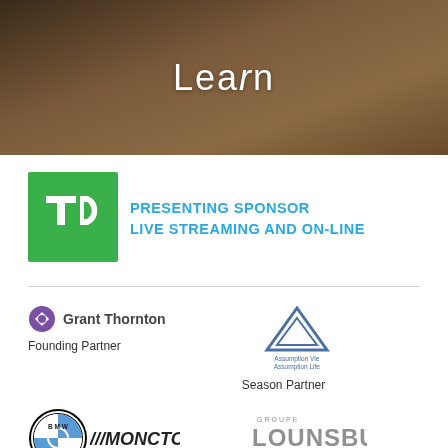[Figure (photo): Person doing yoga/stretching on a wooden floor, overhead perspective, with purple object visible. Text 'Learn' overlaid in white.]
[Figure (logo): TD Bank green square logo with white TD letters]
PRESENTING SPONSOR
LIVE STREAMING AND ON-LINE
[Figure (logo): Grant Thornton logo with purple diamond icon and grey text]
Founding Partner
[Figure (logo): Assumption Life / Assumption Vie blue triangle logo]
Season Partner
[Figure (logo): BMW Moncton logo with BMW roundel and M MONCTON text]
[Figure (logo): Groupe Lounsbury Group logo in blue-grey text]